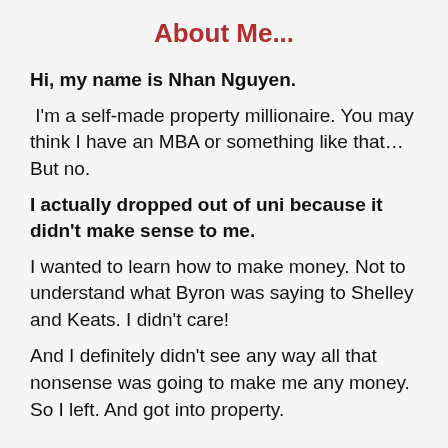About Me...
Hi, my name is Nhan Nguyen.
I'm a self-made property millionaire. You may think I have an MBA or something like that... But no.
I actually dropped out of uni because it didn't make sense to me.
I wanted to learn how to make money. Not to understand what Byron was saying to Shelley and Keats. I didn't care!
And I definitely didn't see any way all that nonsense was going to make me any money. So I left. And got into property.